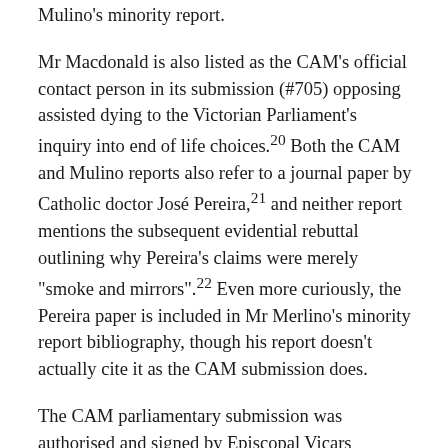Mulino's minority report.
Mr Macdonald is also listed as the CAM's official contact person in its submission (#705) opposing assisted dying to the Victorian Parliament's inquiry into end of life choices.20 Both the CAM and Mulino reports also refer to a journal paper by Catholic doctor José Pereira,21 and neither report mentions the subsequent evidential rebuttal outlining why Pereira's claims were merely "smoke and mirrors".22 Even more curiously, the Pereira paper is included in Mr Merlino's minority report bibliography, though his report doesn't actually cite it as the CAM submission does.
The CAM parliamentary submission was authorised and signed by Episcopal Vicars Anthony Ireland and Anthony Kerin, who also appeared as witnesses before the parliamentary Committee, during which